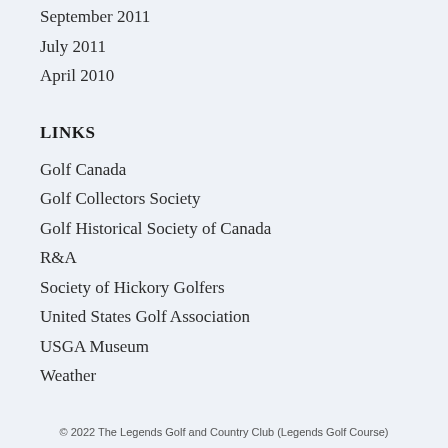September 2011
July 2011
April 2010
LINKS
Golf Canada
Golf Collectors Society
Golf Historical Society of Canada
R&A
Society of Hickory Golfers
United States Golf Association
USGA Museum
Weather
© 2022 The Legends Golf and Country Club (Legends Golf Course)